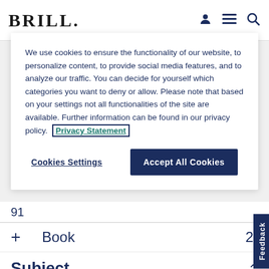[Figure (logo): BRILL publisher logo in bold serif font]
We use cookies to ensure the functionality of our website, to personalize content, to provide social media features, and to analyze our traffic. You can decide for yourself which categories you want to deny or allow. Please note that based on your settings not all functionalities of the site are available. Further information can be found in our privacy policy. Privacy Statement
Cookies Settings
Accept All Cookies
Book 2
Subject
Ancient Near East and Egypt 1
Art History 2